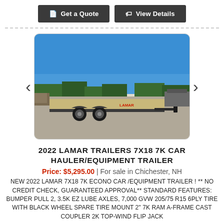Get a Quote | View Details
[Figure (photo): Outdoor photo of a 2022 Lamar 7x18 7K car hauler/equipment trailer in a gravel lot with trees and blue sky in the background.]
2022 LAMAR TRAILERS 7X18 7K CAR HAULER/EQUIPMENT TRAILER
Price: $5,295.00 | For sale in Chichester, NH
NEW 2022 LAMAR 7X18 7K ECONO CAR /EQUIPMENT TRAILER ! ** NO CREDIT CHECK, GUARANTEED APPROVAL** STANDARD FEATURES: BUMPER PULL 2, 3.5K EZ LUBE AXLES, 7,000 GVW 205/75 R15 6PLY TIRE WITH BLACK WHEEL SPARE TIRE MOUNT 2" 7K RAM A-FRAME CAST COUPLER 2K TOP-WIND FLIP JACK